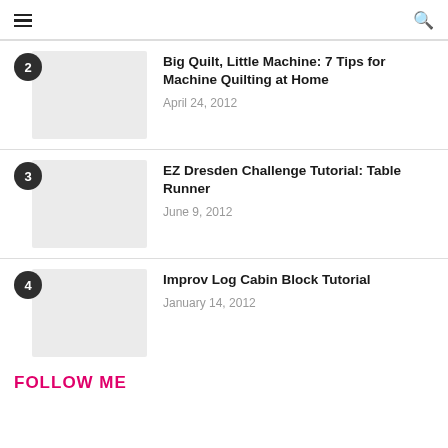☰  🔍
2 | Big Quilt, Little Machine: 7 Tips for Machine Quilting at Home | April 24, 2012
3 | EZ Dresden Challenge Tutorial: Table Runner | June 9, 2012
4 | Improv Log Cabin Block Tutorial | January 14, 2012
FOLLOW ME